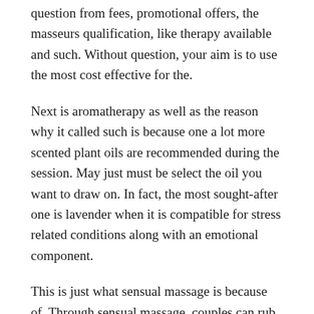question from fees, promotional offers, the masseurs qualification, like therapy available and such. Without question, your aim is to use the most cost effective for the.
Next is aromatherapy as well as the reason why it called such is because one a lot more scented plant oils are recommended during the session. May just must be select the oil you want to draw on. In fact, the most sought-after one is lavender when it is compatible for stress related conditions along with an emotional component.
This is just what sensual massage is because of. Through sensual massage, couples can rub and stroke away their partner's stress, and that they wish, may set happens for a wonderful night (or day, but if your prefer) of intimacy.
The associated with chair you is fundamental. Consider either